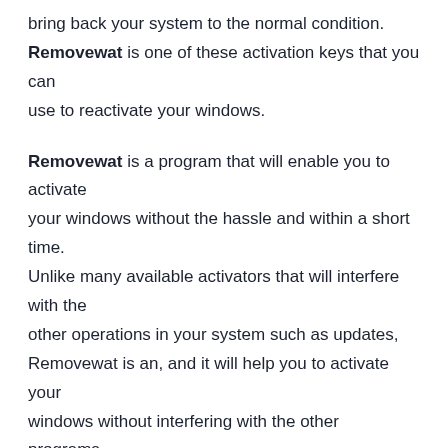bring back your system to the normal condition. Removewat is one of these activation keys that you can use to reactivate your windows.
Removewat is a program that will enable you to activate your windows without the hassle and within a short time. Unlike many available activators that will interfere with the other operations in your system such as updates, Removewat is an, and it will help you to activate your windows without interfering with the other programs. Removewat will work on all windows with 32 bit and 64 bit operating systems. Whether you have windows 7, 8, or 8.1, this program has got you covered. Like any other activator, you will be able to activate your windows and uncheck updates anytime you want.